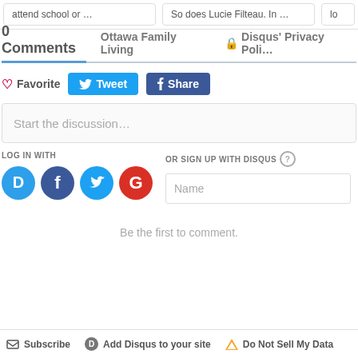attend school or …
So does Lucie Filteau. In …
0 Comments   Ottawa Family Living   🔒 Disqus' Privacy Poli…
♡ Favorite   Tweet   f Share
Start the discussion…
LOG IN WITH
OR SIGN UP WITH DISQUS ?
Name
Be the first to comment.
✉ Subscribe   D Add Disqus to your site   ▲ Do Not Sell My Data